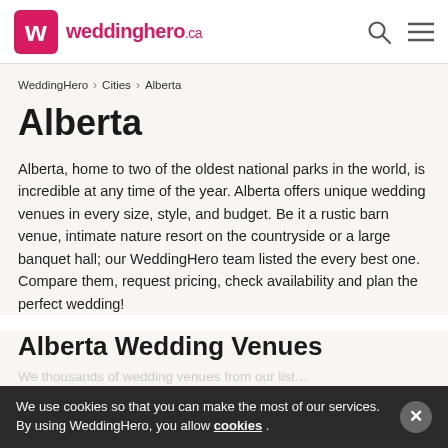weddinghero.ca
WeddingHero › Cities › Alberta
Alberta
Alberta, home to two of the oldest national parks in the world, is incredible at any time of the year. Alberta offers unique wedding venues in every size, style, and budget. Be it a rustic barn venue, intimate nature resort on the countryside or a large banquet hall; our WeddingHero team listed the every best one. Compare them, request pricing, check availability and plan the perfect wedding!
Alberta Wedding Venues
We use cookies so that you can make the most of our services. By using WeddingHero, you allow cookies .